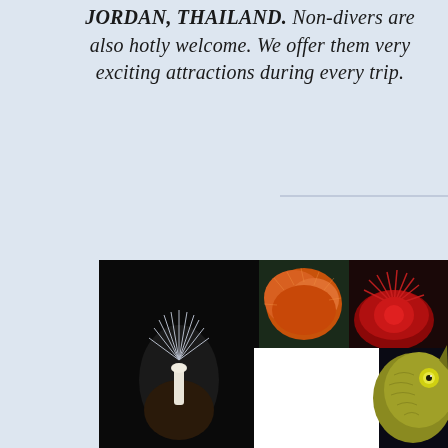JORDAN, THAILAND. Non-divers are also hotly welcome. We offer them very exciting attractions during every trip.
[Figure (photo): A collage of underwater marine life photographs including sea anemones, coral, jellyfish, and a fish, arranged in a horizontal strip at the bottom of the page.]